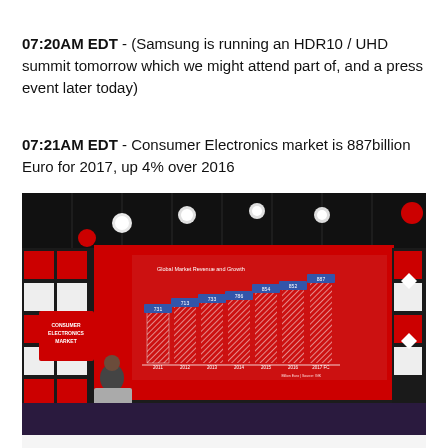07:20AM EDT - (Samsung is running an HDR10 / UHD summit tomorrow which we might attend part of, and a press event later today)
07:21AM EDT - Consumer Electronics market is 887billion Euro for 2017, up 4% over 2016
[Figure (photo): Photo of a presenter on stage at a consumer electronics conference. A large red display screen behind him shows a bar chart titled 'Global Market Revenue and Growth' with bars for years 2011-2017 FC. A sign on left reads CONSUMER ELECTRONICS MARKET. The venue has a dark ceiling with stage lighting.]